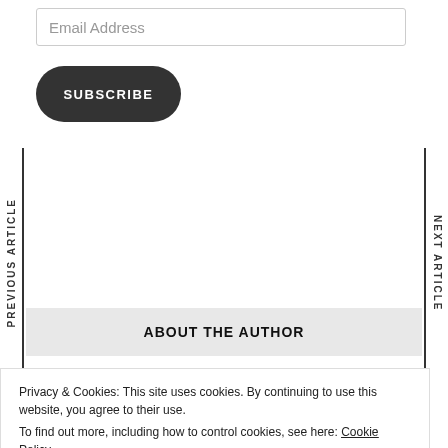Email Address
SUBSCRIBE
PREVIOUS ARTICLE
NEXT ARTICLE
ABOUT THE AUTHOR
Privacy & Cookies: This site uses cookies. By continuing to use this website, you agree to their use.
To find out more, including how to control cookies, see here: Cookie Policy
Close and accept